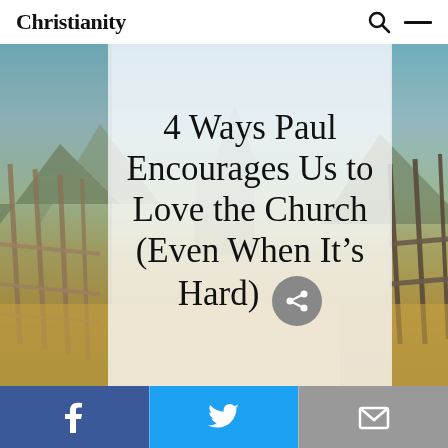Christianity
[Figure (photo): Outdoor landscape photo showing a wooden fence in the foreground, golden meadow, mountains and blue sky in the background, with a faint church silhouette in the center]
4 Ways Paul Encourages Us to Love the Church (Even When It's Hard)
[Figure (infographic): Social sharing toolbar with Facebook (blue), Twitter (light blue), and Email (gray) buttons]